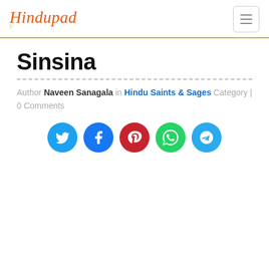Hindupad
Sinsina
Author Naveen Sanagala in Hindu Saints & Sages Category | 0 Comments
[Figure (infographic): Social share buttons: Twitter (blue), Facebook (dark blue), Pinterest (red), WhatsApp (green), Telegram (light blue)]